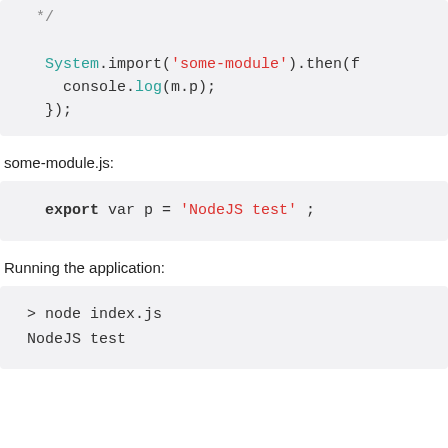[Figure (screenshot): Code block showing: */ on first line, then System.import('some-module').then(f, console.log(m.p); and });]
some-module.js:
[Figure (screenshot): Code block showing: export var p = 'NodeJS test';]
Running the application:
[Figure (screenshot): Terminal block showing: > node index.js and NodeJS test]